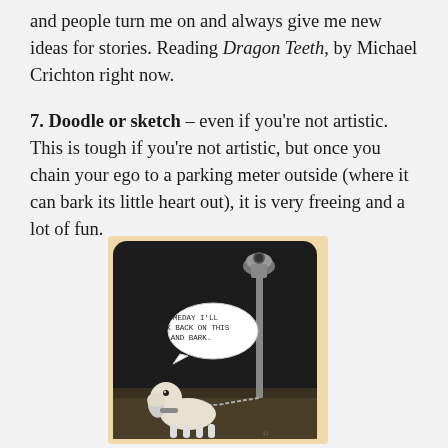and people turn me on and always give me new ideas for stories. Reading Dragon Teeth, by Michael Crichton right now.
7. Doodle or sketch – even if you're not artistic. This is tough if you're not artistic, but once you chain your ego to a parking meter outside (where it can bark its little heart out), it is very freeing and a lot of fun.
[Figure (illustration): A cartoon of a dog chained to a parking meter at night, with a speech bubble saying 'SOMEDAY I'LL LOOK BACK ON THIS AND BARK.']